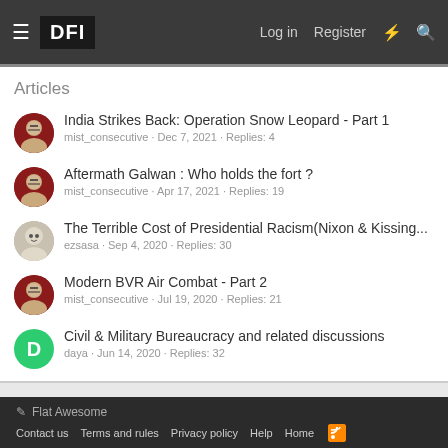DFI | Log in | Register
Articles
India Strikes Back: Operation Snow Leopard - Part 1
mist_consecutive · Dec 7, 2021 · Replies: 4
Aftermath Galwan : Who holds the fort ?
mist_consecutive · Apr 17, 2021 · Replies: 19
The Terrible Cost of Presidential Racism(Nixon & Kissing...
ezsasa · Sep 4, 2020 · Replies: 30
Modern BVR Air Combat - Part 2
mist_consecutive · Jul 19, 2020 · Replies: 21
Civil & Military Bureaucracy and related discussions
daya · Jun 14, 2020 · Replies: 32
< Strategic Forces
Flat Awesome
Contact us · Terms and rules · Privacy policy · Help · Home